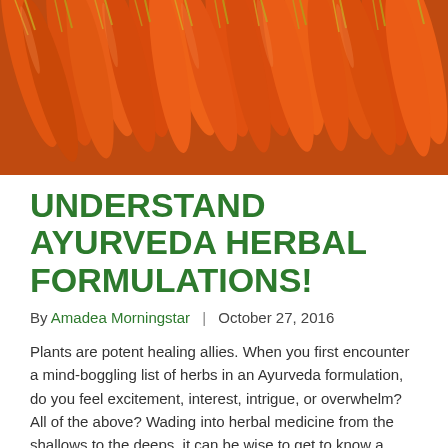[Figure (photo): Close-up photograph of orange carrots with green stems bundled together]
UNDERSTAND AYURVEDA HERBAL FORMULATIONS!
By Amadea Morningstar  |  October 27, 2016
Plants are potent healing allies. When you first encounter a mind-boggling list of herbs in an Ayurveda formulation, do you feel excitement, interest, intrigue, or overwhelm? All of the above? Wading into herbal medicine from the shallows to the deeps, it can be wise to get to know a single herb or plant first. It's...
Read More